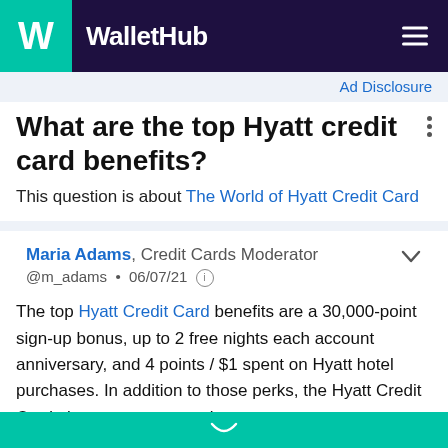WalletHub
Ad Disclosure
What are the top Hyatt credit card benefits?
This question is about The World of Hyatt Credit Card
Maria Adams, Credit Cards Moderator
@m_adams • 06/07/21
The top Hyatt Credit Card benefits are a 30,000-point sign-up bonus, up to 2 free nights each account anniversary, and 4 points / $1 spent on Hyatt hotel purchases. In addition to those perks, the Hyatt Credit Card gives users automatic